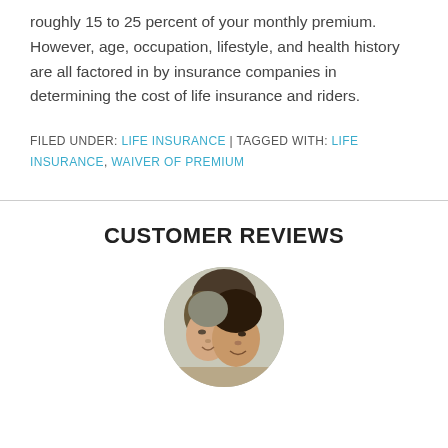roughly 15 to 25 percent of your monthly premium. However, age, occupation, lifestyle, and health history are all factored in by insurance companies in determining the cost of life insurance and riders.
FILED UNDER: LIFE INSURANCE | TAGGED WITH: LIFE INSURANCE, WAIVER OF PREMIUM
CUSTOMER REVIEWS
[Figure (photo): Circular cropped photo of two women smiling closely together, one younger with dark hair and one older.]